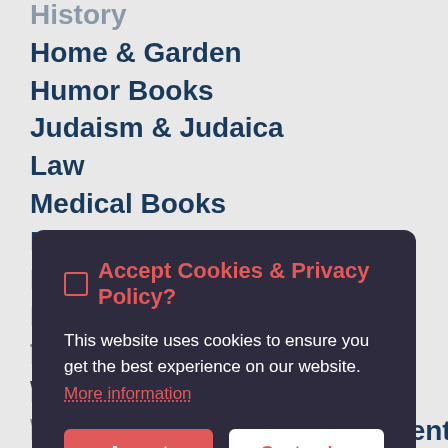History
Home & Garden
Humor Books
Judaism & Judaica
Law
Medical Books
New Age & Spirituality
Nonfiction
Parenting & Family
Pets
Philosophy
Political Books & Current Events Books
Sports & Outdoors (partial, cut off)
[Figure (screenshot): Cookie consent modal with dark background (#2d2b3d), title 'Accept Cookies & Privacy Policy?' in red, body text about cookies in white, a red link 'More information', and two buttons: red 'Accept Cookies' and white 'Customise Cookies']
True Crime
Weddings
Women's Studies (partial)